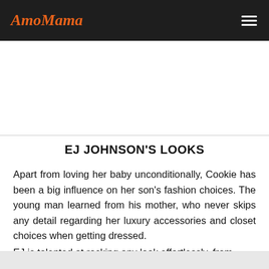AmoMama
EJ JOHNSON'S LOOKS
Apart from loving her baby unconditionally, Cookie has been a big influence on her son's fashion choices. The young man learned from his mother, who never skips any detail regarding her luxury accessories and closet choices when getting dressed.
EJ is talented at rocking any look effortlessly, from